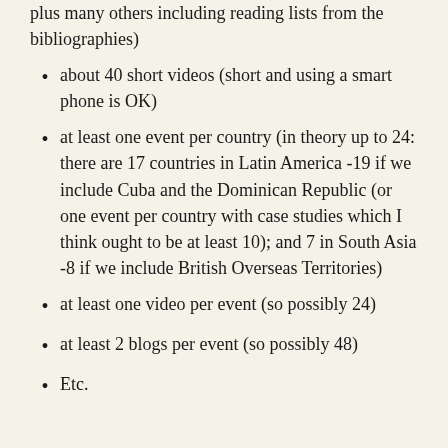plus many others including reading lists from the bibliographies)
about 40 short videos (short and using a smart phone is OK)
at least one event per country (in theory up to 24: there are 17 countries in Latin America -19 if we include Cuba and the Dominican Republic (or one event per country with case studies which I think ought to be at least 10); and 7 in South Asia -8 if we include British Overseas Territories)
at least one video per event (so possibly 24)
at least 2 blogs per event (so possibly 48)
Etc.